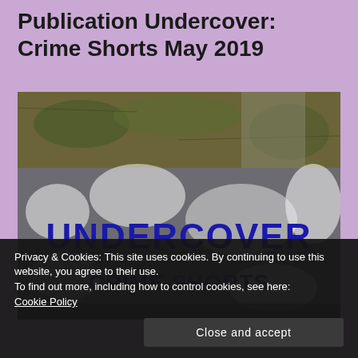Publication Undercover: Crime Shorts May 2019
[Figure (photo): Book cover image for 'Undercover: Crime Shorts' showing a weathered concrete wall with large blue bold letters spelling UNDERCOVER and below it CRIME SHORTS on a grungy textured background]
Privacy & Cookies: This site uses cookies. By continuing to use this website, you agree to their use.
To find out more, including how to control cookies, see here:
Cookie Policy
Close and accept